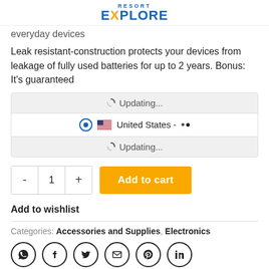RESORT EXPLORE
everyday devices
Leak resistant-construction protects your devices from leakage of fully used batteries for up to 2 years. Bonus: It's guaranteed
[Figure (screenshot): Shipping options widget showing Updating... spinner rows and United States country selection with radio button and flag]
[Figure (infographic): Quantity selector control with minus, 1, plus buttons and yellow Add to cart button]
Add to wishlist
Categories: Accessories and Supplies, Electronics
[Figure (infographic): Social sharing icons: WhatsApp, Facebook, Twitter, Email, Pinterest, LinkedIn]